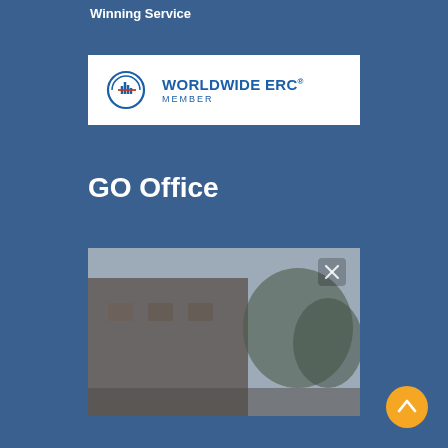Winning Service
[Figure (logo): Worldwide ERC Member logo — circular globe icon with bar chart and red accent line, text reads WORLDWIDE ERC® MEMBER]
GO Office
[Figure (photo): Blurry/foggy exterior photo of a brick building with trees, dark and muted tones, with a close/X button overlay in upper right]
[Figure (other): Orange circular scroll-to-top button with upward chevron arrow, positioned bottom-right]